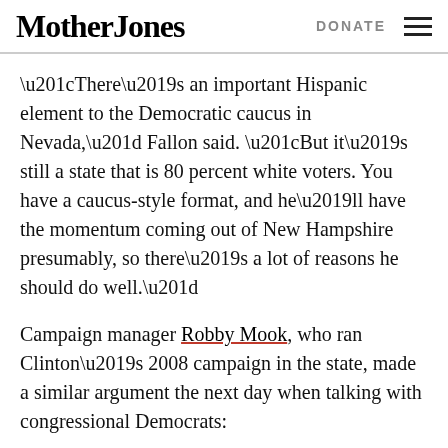Mother Jones | DONATE
“There’s an important Hispanic element to the Democratic caucus in Nevada,” Fallon said. “But it’s still a state that is 80 percent white voters. You have a caucus-style format, and he’ll have the momentum coming out of New Hampshire presumably, so there’s a lot of reasons he should do well.”
Campaign manager Robby Mook, who ran Clinton’s 2008 campaign in the state, made a similar argument the next day when talking with congressional Democrats:
John Bresnahan